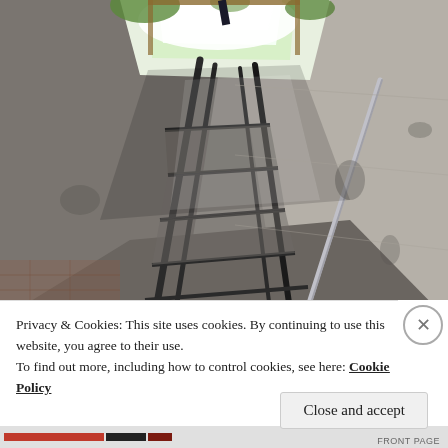[Figure (photo): View looking up a concrete stairwell from below. Metal railing stairs lead upward toward a bright opening at the top where daylight and green trees are visible. The concrete walls are weathered and stained. A metal pipe/handrail runs diagonally along the right wall.]
Privacy & Cookies: This site uses cookies. By continuing to use this website, you agree to their use.
To find out more, including how to control cookies, see here: Cookie Policy